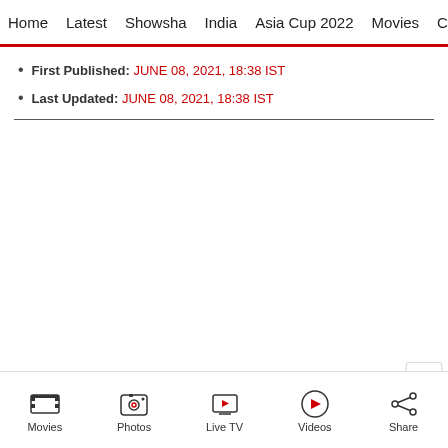Home | Latest | Showsha | India | Asia Cup 2022 | Movies | Cricket
First Published: JUNE 08, 2021, 18:38 IST
Last Updated: JUNE 08, 2021, 18:38 IST
Movies | Photos | Live TV | Videos | Share